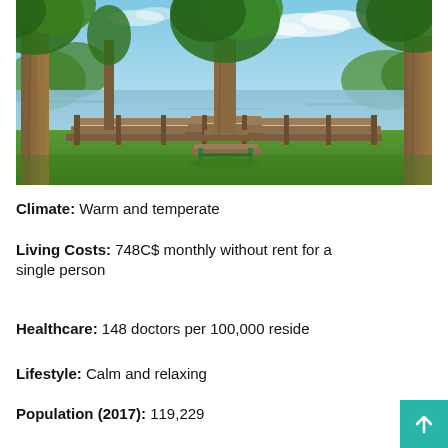[Figure (photo): Outdoor park scene with tall trees, a wooden bench in the foreground, a wooden rail fence/amphitheater-style seating, and a calm lake visible in the background under a partly cloudy blue sky.]
Climate: Warm and temperate
Living Costs: 748C$ monthly without rent for a single person
Healthcare: 148 doctors per 100,000 residents
Lifestyle: Calm and relaxing
Population (2017): 119,229